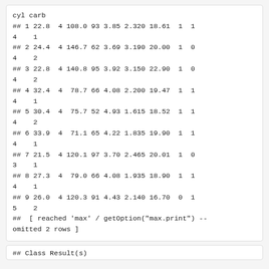cyl carb
## 1 22.8  4 108.0 93 3.85 2.320 18.61  1  1
4    1
## 2 24.4  4 146.7 62 3.69 3.190 20.00  1  0
4    2
## 3 22.8  4 140.8 95 3.92 3.150 22.90  1  0
4    2
## 4 32.4  4  78.7 66 4.08 2.200 19.47  1  1
4    1
## 5 30.4  4  75.7 52 4.93 1.615 18.52  1  1
4    2
## 6 33.9  4  71.1 65 4.22 1.835 19.90  1  1
4    1
## 7 21.5  4 120.1 97 3.70 2.465 20.01  1  0
3    1
## 8 27.3  4  79.0 66 4.08 1.935 18.90  1  1
4    1
## 9 26.0  4 120.3 91 4.43 2.140 16.70  0  1
5    2
##  [ reached 'max' / getOption("max.print") --
omitted 2 rows ]
## Class Result(s)